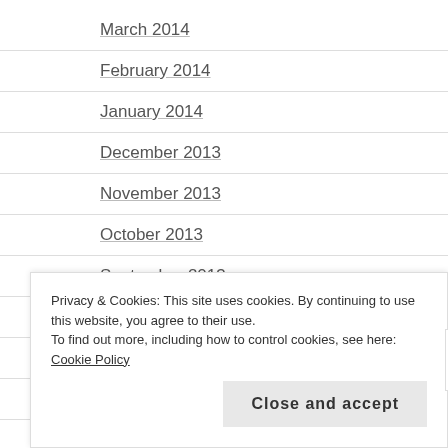March 2014
February 2014
January 2014
December 2013
November 2013
October 2013
September 2013
August 2013
July 2013
June 2013
Privacy & Cookies: This site uses cookies. By continuing to use this website, you agree to their use.
To find out more, including how to control cookies, see here: Cookie Policy
Close and accept